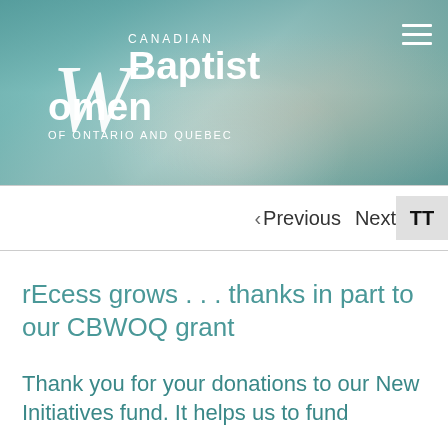[Figure (photo): Canadian Baptist Women of Ontario and Quebec logo overlaid on a teal ocean wave background photo. White text logo with stylized W, 'CANADIAN', 'Baptist', 'Women', 'OF ONTARIO AND QUEBEC'. Hamburger menu icon in top right.]
< Previous   Next
rEcess grows . . . thanks in part to our CBWOQ grant
Thank you for your donations to our New Initiatives fund. It helps us to fund